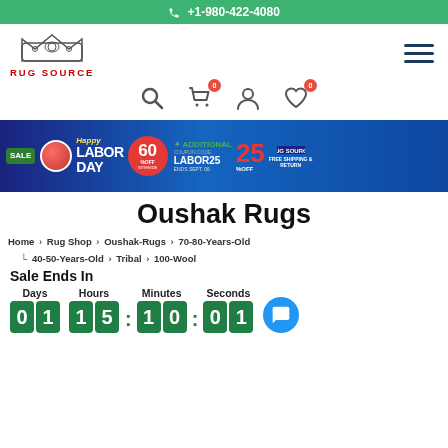+1-980-422-4080
[Figure (logo): Rug Source logo with crown emblem and red text RUG SOURCE]
[Figure (infographic): Labor Day Sale banner: 60% off sitewide, additional 25% off with coupon code LABOR25, ends Sept. 06, free shipping and return]
Oushak Rugs
Home > Rug Shop > Oushak-Rugs > 70-80-Years-Old > 40-50-Years-Old > Tribal > 100-Wool
Sale Ends In
Days: 01  Hours: 15  Minutes: 10  Seconds: 01